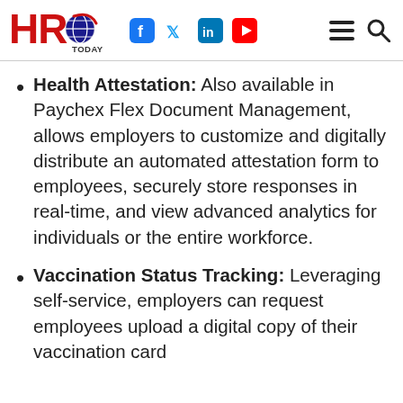HRO Today — with social icons (Facebook, Twitter, LinkedIn, YouTube) and navigation icons (menu, search)
Health Attestation: Also available in Paychex Flex Document Management, allows employers to customize and digitally distribute an automated attestation form to employees, securely store responses in real-time, and view advanced analytics for individuals or the entire workforce.
Vaccination Status Tracking: Leveraging self-service, employers can request employees upload a digital copy of their vaccination card